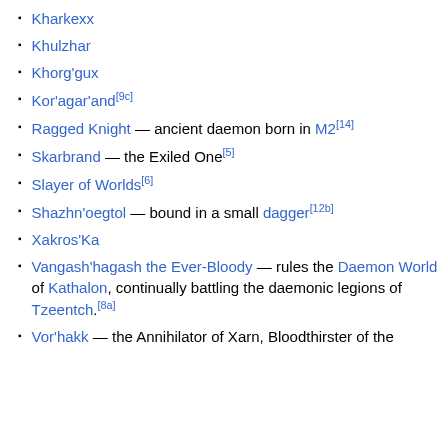Kharkexx
Khulzhar
Khorg'gux
Kor'agar'and[9c]
Ragged Knight — ancient daemon born in M2[14]
Skarbrand — the Exiled One[5]
Slayer of Worlds[6]
Shazhn'oegtol — bound in a small dagger[12b]
Xakros'Ka
Vangash'hagash the Ever-Bloody — rules the Daemon World of Kathalon, continually battling the daemonic legions of Tzeentch.[8a]
Vor'hakk — the Annihilator of Xarn, Bloodthirster of the